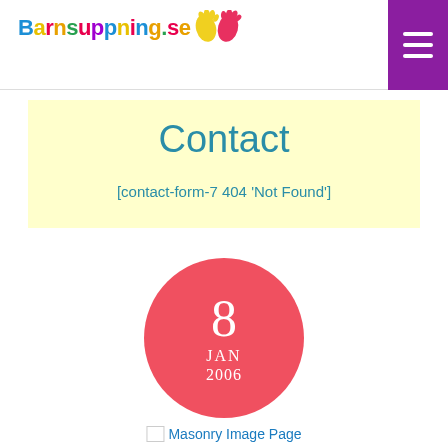Barnsuppning.se [logo with hamburger menu]
Contact
[contact-form-7 404 'Not Found']
[Figure (infographic): Pink/red circle with date: 8 JAN 2006]
Masonry Image Page